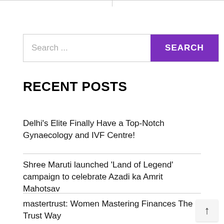[Figure (screenshot): Search bar with text 'Search ...' placeholder and a purple 'SEARCH' button on the right]
RECENT POSTS
Delhi's Elite Finally Have a Top-Notch Gynaecology and IVF Centre!
Shree Maruti launched 'Land of Legend' campaign to celebrate Azadi ka Amrit Mahotsav
mastertrust: Women Mastering Finances The Trust Way